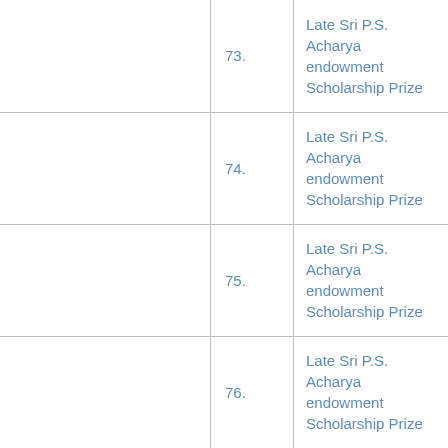|  | 73. | Late Sri P.S. Acharya endowment Scholarship Prize |
|  | 74. | Late Sri P.S. Acharya endowment Scholarship Prize |
|  | 75. | Late Sri P.S. Acharya endowment Scholarship Prize |
|  | 76. | Late Sri P.S. Acharya endowment Scholarship Prize |